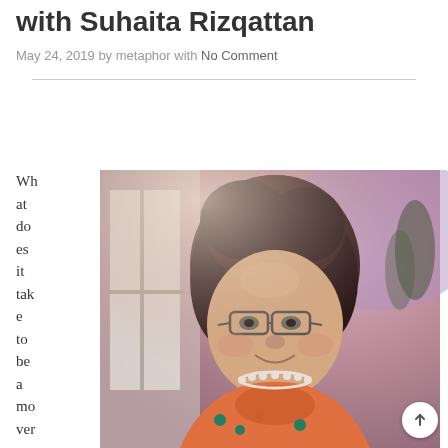with Suhaita Rizqattan
May 24, 2019 by metaphor with No Comment
[Figure (photo): Portrait photo of Suhaita Rizqattan, a woman with dark curly hair, glasses, wearing a floral blouse and a pearl necklace, smiling, photographed indoors with a window and purple-lit background.]
What does it take to be a mover and sha